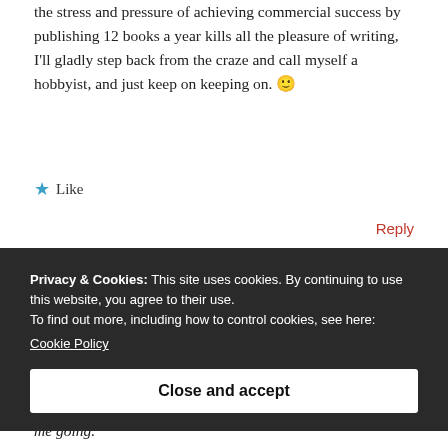the stress and pressure of achieving commercial success by publishing 12 books a year kills all the pleasure of writing, I'll gladly step back from the craze and call myself a hobbyist, and just keep on keeping on. 🙂
★ Like
Reply
Privacy & Cookies: This site uses cookies. By continuing to use this website, you agree to their use. To find out more, including how to control cookies, see here: Cookie Policy
Close and accept
me going.